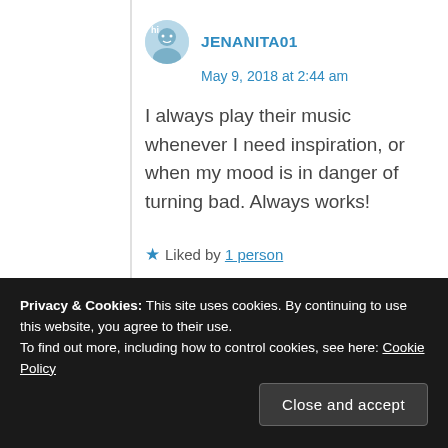JENANITA01
May 9, 2018 at 2:44 am
I always play their music whenever I need inspiration, or when my mood is in danger of turning bad. Always works!
★ Liked by 1 person
Reply →
Privacy & Cookies: This site uses cookies. By continuing to use this website, you agree to their use.
To find out more, including how to control cookies, see here: Cookie Policy
Close and accept